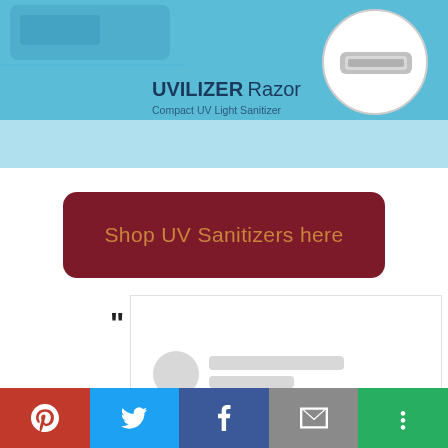[Figure (photo): Product banner showing UVILIZER Razor Compact UV Light Sanitizer with a hand holding a blue UV device and a circular inset image of the device on a light blue background]
UVILIZER Razor
Compact UV Light Sanitizer
Shop UV Sanitizers here
[Figure (screenshot): A partially loaded comment/review section with gray placeholder avatar circle and two gray placeholder lines representing loading user content]
[Figure (infographic): Social share bar at bottom with Pinterest (red), Twitter (blue), Facebook (dark blue), Email (gray), and More (green) buttons with white icons]